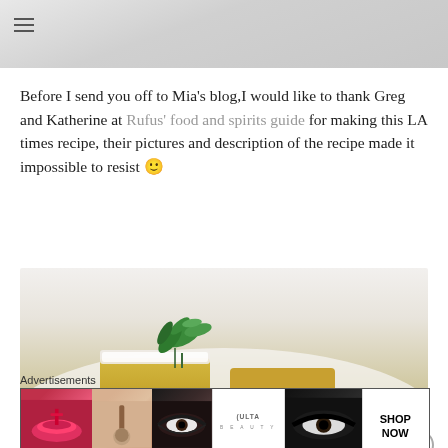[Figure (photo): Top banner image with gray/marble texture background and hamburger menu icon in top left corner]
Before I send you off to Mia's blog,I would like to thank Greg and Katherine at Rufus' food and spirits guide for making this LA times recipe, their pictures and description of the recipe made it impossible to resist 🙂
[Figure (photo): Close-up photo of lemon bars dusted with powdered sugar and garnished with fresh mint leaves, on a white background]
Advertisements
[Figure (photo): Ulta Beauty advertisement banner with cosmetics imagery including lips with lipstick and makeup brush, eye with eye makeup, Ulta logo, more eye makeup close-up, and SHOP NOW text]